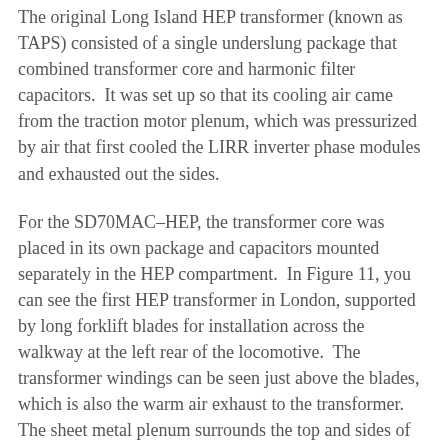The original Long Island HEP transformer (known as TAPS) consisted of a single underslung package that combined transformer core and harmonic filter capacitors.  It was set up so that its cooling air came from the traction motor plenum, which was pressurized by air that first cooled the LIRR inverter phase modules and exhausted out the sides.
For the SD70MAC-HEP, the transformer core was placed in its own package and capacitors mounted separately in the HEP compartment.  In Figure 11, you can see the first HEP transformer in London, supported by long forklift blades for installation across the walkway at the left rear of the locomotive.  The transformer windings can be seen just above the blades, which is also the warm air exhaust to the transformer.  The sheet metal plenum surrounds the top and sides of the core, but is open